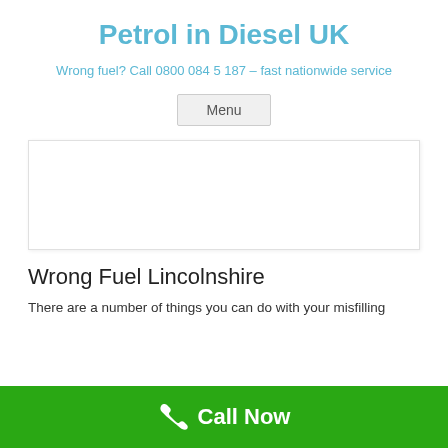Petrol in Diesel UK
Wrong fuel? Call 0800 084 5 187 – fast nationwide service
Menu
[Figure (other): Advertisement banner placeholder box]
Wrong Fuel Lincolnshire
There are a number of things you can do with your misfilling
Call Now